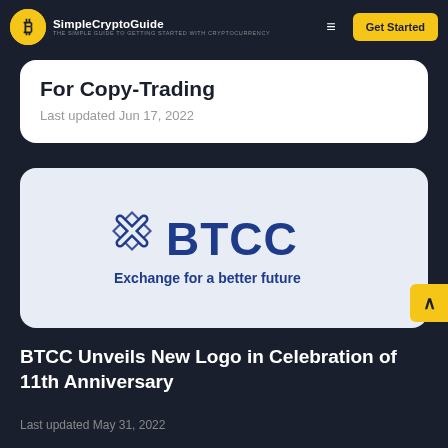SimpleCryptoGuide — Get Started
For Copy-Trading
Last updated Jun 17, 2022
[Figure (logo): BTCC logo with text 'Exchange for a better future' on a light blue-grey background card]
BTCC Unveils New Logo in Celebration of 11th Anniversary
Last updated May 31, 2022